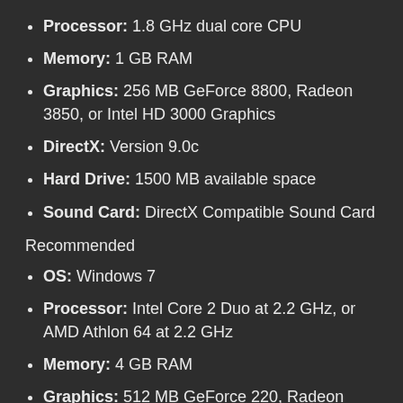Processor: 1.8 GHz dual core CPU
Memory: 1 GB RAM
Graphics: 256 MB GeForce 8800, Radeon 3850, or Intel HD 3000 Graphics
DirectX: Version 9.0c
Hard Drive: 1500 MB available space
Sound Card: DirectX Compatible Sound Card
Recommended
OS: Windows 7
Processor: Intel Core 2 Duo at 2.2 GHz, or AMD Athlon 64 at 2.2 GHz
Memory: 4 GB RAM
Graphics: 512 MB GeForce 220, Radeon 4550, Intel HD 4000 Graphics
DirectX: Version 9.0c
Hard Drive: 1500 MB available space
Sound Card: DirectX Compatible Sound Card